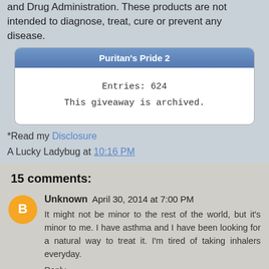and Drug Administration. These products are not intended to diagnose, treat, cure or prevent any disease.
[Figure (other): Puritan's Pride 2 giveaway widget showing Entries: 624 and 'This giveaway is archived.']
*Read my Disclosure
A Lucky Ladybug at 10:16 PM
15 comments:
Unknown  April 30, 2014 at 7:00 PM
It might not be minor to the rest of the world, but it's minor to me. I have asthma and I have been looking for a natural way to treat it. I'm tired of taking inhalers everyday.
Reply